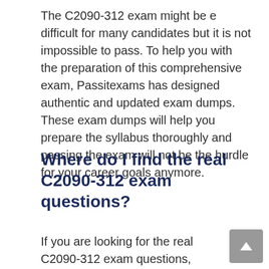The C2090-312 exam might be e difficult for many candidates but it is not impossible to pass. To help you with the preparation of this comprehensive exam, Passitexams has designed authentic and updated exam dumps. These exam dumps will help you prepare the syllabus thoroughly and passing the exam will not be the hurdle for your career goals anymore.
Where do I find the real C2090-312 exam questions?
If you are looking for the real C2090-312 exam questions, then you are at the right place because Passitexams offers authentic